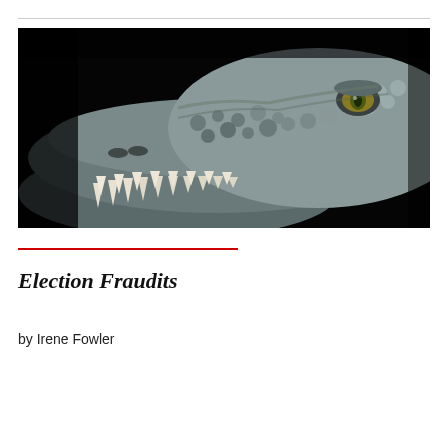[Figure (photo): Close-up photograph of a crocodile head against a black background, showing detailed scaly skin, sharp white teeth, and a yellow-green eye.]
Election Fraudits
by Irene Fowler